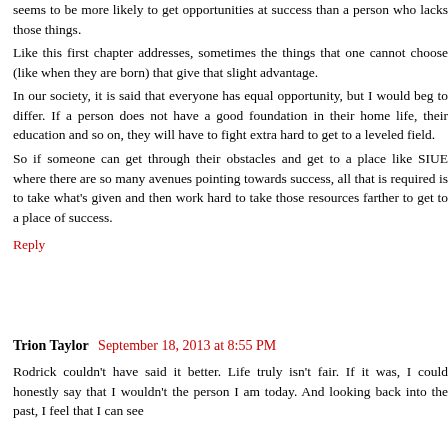seems to be more likely to get opportunities at success than a person who lacks those things.
Like this first chapter addresses, sometimes the things that one cannot choose (like when they are born) that give that slight advantage.
In our society, it is said that everyone has equal opportunity, but I would beg to differ. If a person does not have a good foundation in their home life, their education and so on, they will have to fight extra hard to get to a leveled field.
So if someone can get through their obstacles and get to a place like SIUE where there are so many avenues pointing towards success, all that is required is to take what's given and then work hard to take those resources farther to get to a place of success.
Reply
Trion Taylor  September 18, 2013 at 8:55 PM
Rodrick couldn't have said it better. Life truly isn't fair. If it was, I could honestly say that I wouldn't the person I am today. And looking back into the past, I feel that I can see